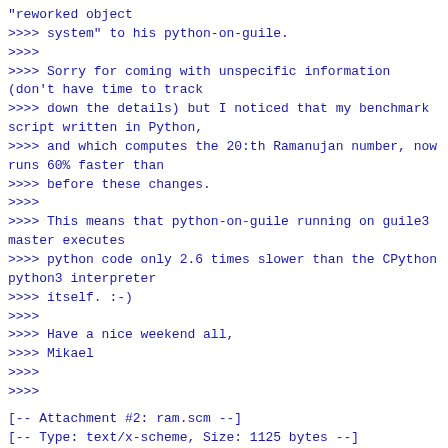"reworked object
>>>> system" to his python-on-guile.
>>>>
>>>> Sorry for coming with unspecific information (don't have time to track
>>>> down the details) but I noticed that my benchmark script written in Python,
>>>> and which computes the 20:th Ramanujan number, now runs 60% faster than
>>>> before these changes.
>>>>
>>>> This means that python-on-guile running on guile3 master executes
>>>> python code only 2.6 times slower than the CPython python3 interpreter
>>>> itself. :-)
>>>>
>>>> Have a nice weekend all,
>>>> Mikael
>>>>
>>>>
[-- Attachment #2: ram.scm --]
[-- Type: text/x-scheme, Size: 1125 bytes --]
(define (ramanujan  n)
  (let lp ((w 0) (b0 1) (n n))
    (if (> n 0)
        (let ((w (+ w 1)))
          (let ln2 ((b0 b0))